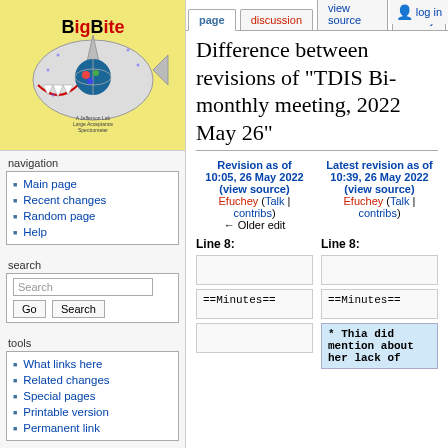[Figure (logo): BigBite spectrometer logo - shark with BigBite text on yellow background]
navigation
Main page
Recent changes
Random page
Help
search
tools
What links here
Related changes
Special pages
Printable version
Permanent link
page | discussion | view source | history | log in
Difference between revisions of "TDIS Bi-monthly meeting, 2022 May 26"
| Revision as of 10:05, 26 May 2022 (view source) | Latest revision as of 10:39, 26 May 2022 (view source) |
| --- | --- |
| Efuchey (Talk | contribs)
← Older edit | Efuchey (Talk | contribs) |
Line 8:
Line 8:
==Minutes==
==Minutes==
* Thia did mention about her lack of